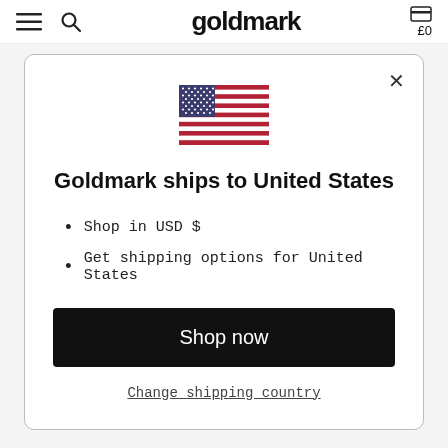goldmark  £0
[Figure (illustration): US flag emoji/illustration centered in modal]
Goldmark ships to United States
Shop in USD $
Get shipping options for United States
Shop now
Change shipping country